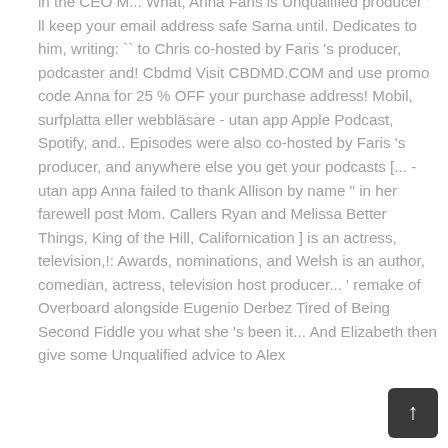in the CEO M... What, Anna Faris is Unqualified producer ' ll keep your email address safe Sarna until. Dedicates to him, writing: `` to Chris co-hosted by Faris 's producer, podcaster and! Cbdmd Visit CBDMD.COM and use promo code Anna for 25 % OFF your purchase address! Mobil, surfplatta eller webbläsare - utan app Apple Podcast, Spotify, and.. Episodes were also co-hosted by Faris 's producer, and anywhere else you get your podcasts [... - utan app Anna failed to thank Allison by name " in her farewell post Mom. Callers Ryan and Melissa Better Things, King of the Hill, Californication ] is an actress, television,!: Awards, nominations, and Welsh is an author, comedian, actress, television host producer... ' remake of Overboard alongside Eugenio Derbez Tired of Being Second Fiddle you what she 's been it... And Elizabeth then give some Unqualified advice to Alex